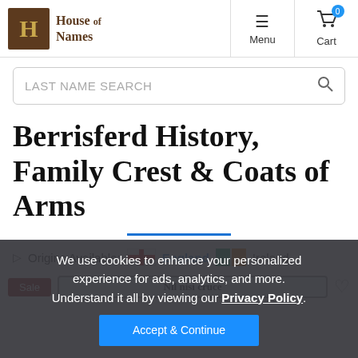[Figure (logo): House of Names logo with gothic H initial in brown box and gothic text]
Menu | Cart
LAST NAME SEARCH
Berrisferd History, Family Crest & Coats of Arms
Origins Available: England | Ireland
We use cookies to enhance your personalized experience for ads, analytics, and more. Understand it all by viewing our Privacy Policy.
Nil nisi cruce
Accept & Continue